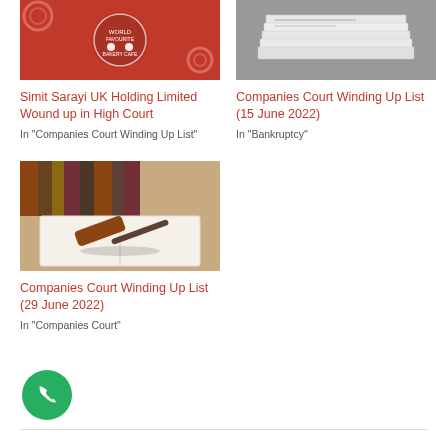[Figure (photo): Simit Sarayi bakery cafe logo on red background]
Simit Sarayi UK Holding Limited Wound up in High Court
In "Companies Court Winding Up List"
[Figure (photo): Stack of newspapers]
Companies Court Winding Up List (15 June 2022)
In "Bankruptcy"
[Figure (photo): Judge's gavel on notebook with law books in background]
Companies Court Winding Up List (29 June 2022)
In "Companies Court"